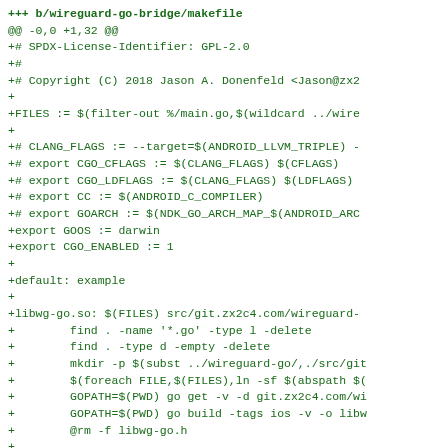[Figure (screenshot): A git diff screenshot showing a new Makefile being added to b/wireguard-go-bridge/makefile, with green diff lines showing file content including license header, build variables, export statements, and build targets for libwg-go.so]